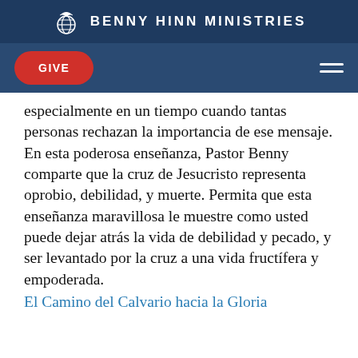BENNY HINN MINISTRIES
GIVE
especialmente en un tiempo cuando tantas personas rechazan la importancia de ese mensaje. En esta poderosa enseñanza, Pastor Benny comparte que la cruz de Jesucristo representa oprobio, debilidad, y muerte. Permita que esta enseñanza maravillosa le muestre como usted puede dejar atrás la vida de debilidad y pecado, y ser levantado por la cruz a una vida fructífera y empoderada.
El Camino del Calvario hacia la Gloria